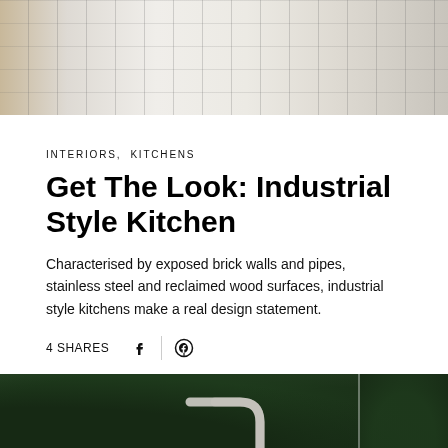[Figure (photo): Top portion of a kitchen interior showing white/cream tiled or paneled surfaces with a grid pattern, wooden element on the left side]
INTERIORS,  KITCHENS
Get The Look: Industrial Style Kitchen
Characterised by exposed brick walls and pipes, stainless steel and reclaimed wood surfaces, industrial style kitchens make a real design statement.
4 SHARES
[Figure (photo): Bottom portion showing green foliage/plant wall with white pipe/tube shapes in the middle section, split into panels by a vertical divider]